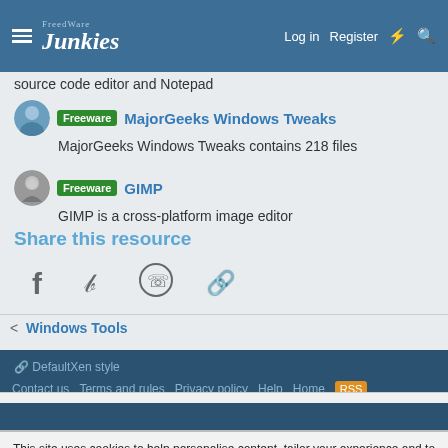Junkies — Log in | Register
source code editor and Notepad
Freeware MajorGeeks Windows Tweaks — MajorGeeks Windows Tweaks contains 218 files
Freeware GIMP — GIMP is a cross-platform image editor
Share this resource
[Figure (infographic): Social share icons: Facebook, Twitter, WhatsApp, Link]
< Windows Tools
DefaultXen style
Contact us   Terms and rules   Privacy policy   Help   Home
This site uses cookies to help personalise content, tailor your experience and to keep you logged in if you register.
By continuing to use this site, you are consenting to our use of cookies.